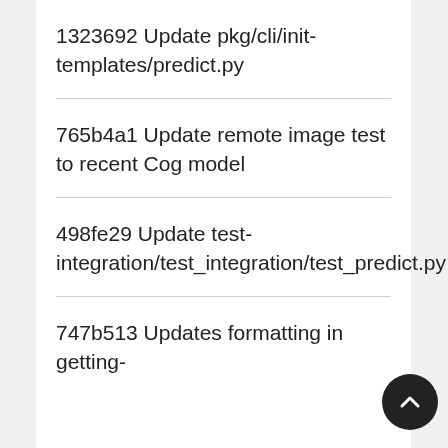1323692 Update pkg/cli/init-templates/predict.py
765b4a1 Update remote image test to recent Cog model
498fe29 Update test-integration/test_integration/test_predict.py
747b513 Updates formatting in getting-